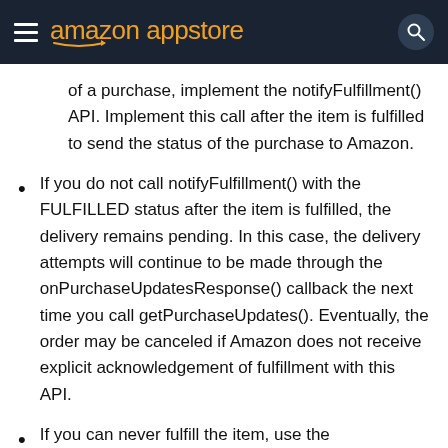amazon appstore
of a purchase, implement the notifyFulfillment() API. Implement this call after the item is fulfilled to send the status of the purchase to Amazon.
If you do not call notifyFulfillment() with the FULFILLED status after the item is fulfilled, the delivery remains pending. In this case, the delivery attempts will continue to be made through the onPurchaseUpdatesResponse() callback the next time you call getPurchaseUpdates(). Eventually, the order may be canceled if Amazon does not receive explicit acknowledgement of fulfillment with this API.
If you can never fulfill the item, use the